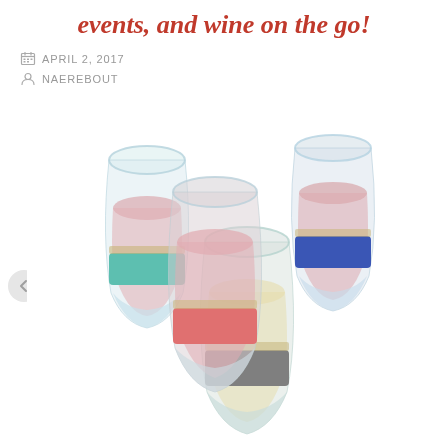events, and wine on the go!
APRIL 2, 2017
NAEREBOUT
[Figure (photo): Four stemless wine glasses with colored silicone bands (teal/mint, coral/red, grey, and navy blue) containing wine, arranged in a cluster on a white background.]